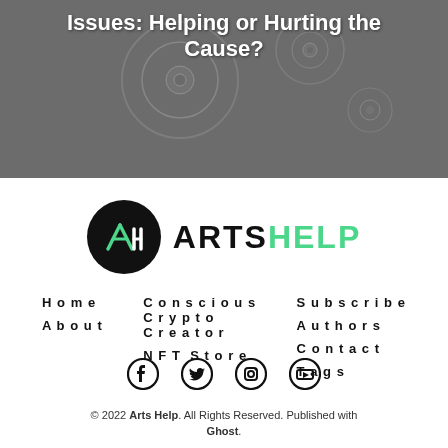[Figure (photo): Hero banner image with abstract circular shapes on a dark gray background, with white bold text overlay partially visible.]
Issues: Helping or Hurting the Cause?
[Figure (logo): ArtsHelp logo: black circle with stylized AH icon in green/white, followed by text ARTS in black and HELP in green.]
Home
About
Conscious Crypto Creator
NFT Store
Subscribe
Authors
Contact
Tags
[Figure (illustration): Social media icons row: Facebook, Twitter, Instagram, YouTube — all black.]
© 2022 Arts Help. All Rights Reserved. Published with Ghost.